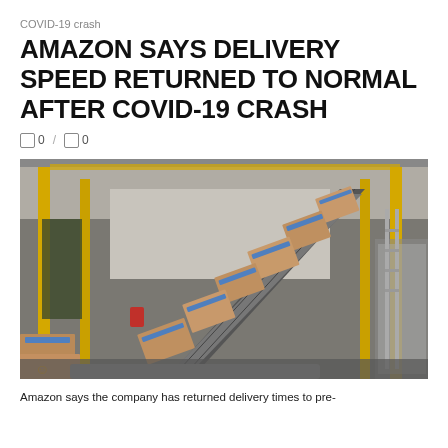COVID-19 crash
AMAZON SAYS DELIVERY SPEED RETURNED TO NORMAL AFTER COVID-19 CRASH
🗨 0 / 🗨 0
[Figure (photo): Amazon warehouse fulfillment center with cardboard packages on a conveyor belt. Yellow support columns are visible, and the large industrial space shows boxes being sorted and transported on the belt system.]
Amazon says the company has returned delivery times to pre-